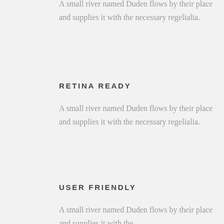A small river named Duden flows by their place and supplies it with the necessary regelialia.
RETINA READY
A small river named Duden flows by their place and supplies it with the necessary regelialia.
USER FRIENDLY
A small river named Duden flows by their place and supplies it with the